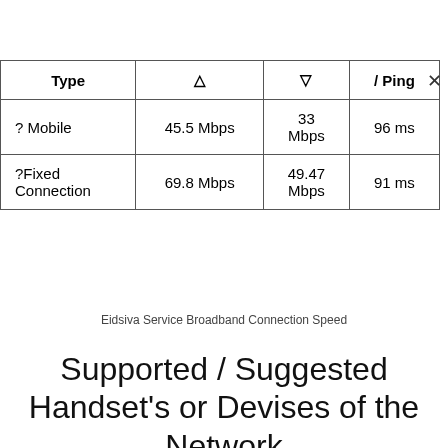| Type | ↑ | ↓ | / Ping |
| --- | --- | --- | --- |
| ? Mobile | 45.5 Mbps | 33 Mbps | 96 ms |
| ?Fixed Connection | 69.8 Mbps | 49.47 Mbps | 91 ms |
Eidsiva Service Broadband Connection Speed
Supported / Suggested Handset's or Devises of the Network